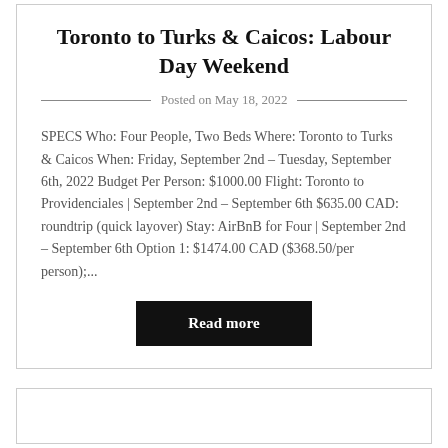Toronto to Turks & Caicos: Labour Day Weekend
Posted on May 18, 2022
SPECS Who: Four People, Two Beds Where: Toronto to Turks & Caicos When: Friday, September 2nd – Tuesday, September 6th, 2022 Budget Per Person: $1000.00 Flight: Toronto to Providenciales | September 2nd – September 6th $635.00 CAD: roundtrip (quick layover) Stay: AirBnB for Four | September 2nd – September 6th Option 1: $1474.00 CAD ($368.50/per person);...
Read more